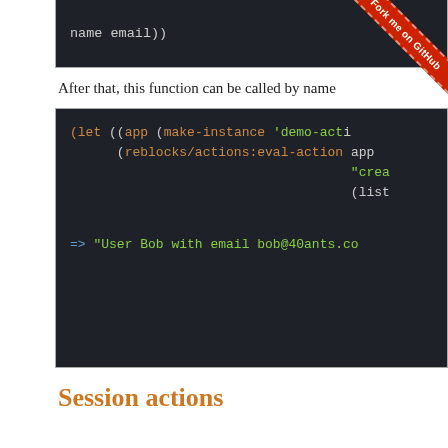[Figure (screenshot): Code block showing partial Lisp/Common Lisp code with dark background: 'name email))']
[Figure (illustration): Fork me on GitHub ribbon in red in the top-right corner]
After that, this function can be called by name
[Figure (screenshot): Code block with dark background showing: (let ((app (make-instance 'demo-acti... (reblocks/actions:eval-action app "crea... (list... => "User Bob with email bob@40ants.co...]
Session actions
Session actions can be a stand-alone functions or closures. This makes it easier to catch some variables and to use them when user interacts with application.
However, such closures are stored in a hash table bound to